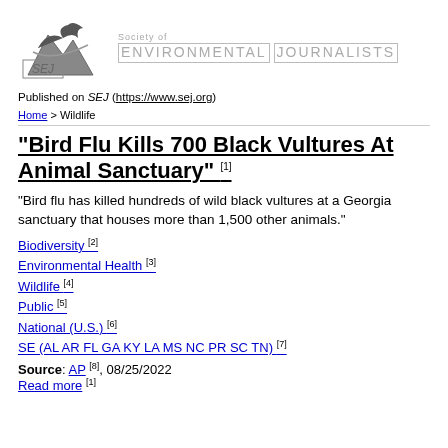[Figure (logo): SEJ Society of Environmental Journalists logo with mountain/bird graphic and text]
Published on SEJ (https://www.sej.org)
Home > Wildlife
"Bird Flu Kills 700 Black Vultures At Animal Sanctuary" [1]
"Bird flu has killed hundreds of wild black vultures at a Georgia sanctuary that houses more than 1,500 other animals."
Biodiversity [2]
Environmental Health [3]
Wildlife [4]
Public [5]
National (U.S.) [6]
SE (AL AR FL GA KY LA MS NC PR SC TN) [7]
Source: AP [8], 08/25/2022
Read more [1]